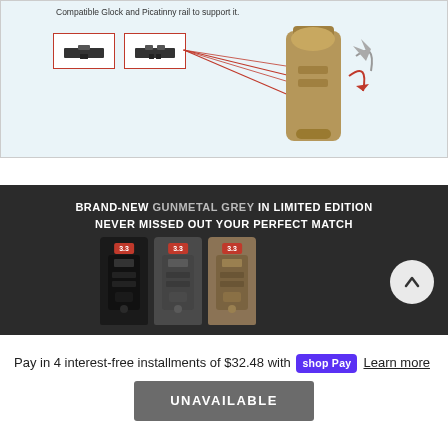[Figure (photo): Product diagram showing two rail adapter clips (Glock and Picatinny) with red outline boxes, connected by red lines to a tan tactical flashlight on the right with rotation arrows indicating mounting]
[Figure (photo): Dark promotional banner showing three tactical flashlights (black, gunmetal grey, tan) with red badge labels and text: BRAND-NEW GUNMETAL GREY IN LIMITED EDITION NEVER MISSED OUT YOUR PERFECT MATCH, with a white circular up-arrow button on the right]
Pay in 4 interest-free installments of $32.48 with shop Pay  Learn more
UNAVAILABLE